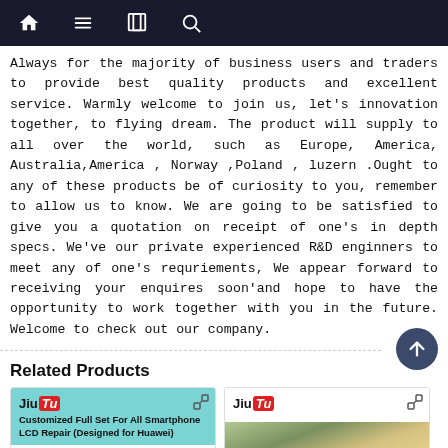Navigation bar with home, menu, notebook, and search icons
Always for the majority of business users and traders to provide best quality products and excellent service. Warmly welcome to join us, let's innovation together, to flying dream. The product will supply to all over the world, such as Europe, America, Australia,America , Norway ,Poland , luzern .Ought to any of these products be of curiosity to you, remember to allow us to know. We are going to be satisfied to give you a quotation on receipt of one's in depth specs. We've our private experienced R&D enginners to meet any of one's requriements, We appear forward to receiving your enquires soon'and hope to have the opportunity to work together with you in the future. Welcome to check out our company.
Related Products
[Figure (photo): JiuTu branded product card showing 'Customized Full Set For All Smartphone LCD Repair (Designed for Huawei)' on teal background]
[Figure (photo): JiuTu branded product card with logo on white background and product image at bottom]